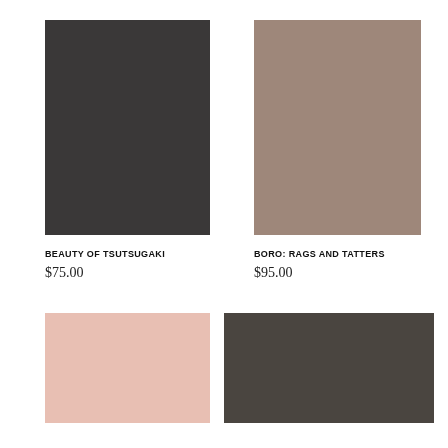[Figure (illustration): Dark charcoal/near-black color swatch rectangle]
BEAUTY OF TSUTSUGAKI
$75.00
[Figure (illustration): Warm taupe/brownish-gray color swatch rectangle]
BORO: RAGS AND TATTERS
$95.00
[Figure (illustration): Soft blush/pale pink color swatch rectangle (partial, bottom of page)]
[Figure (illustration): Dark olive/charcoal brown color swatch rectangle (partial, bottom of page)]